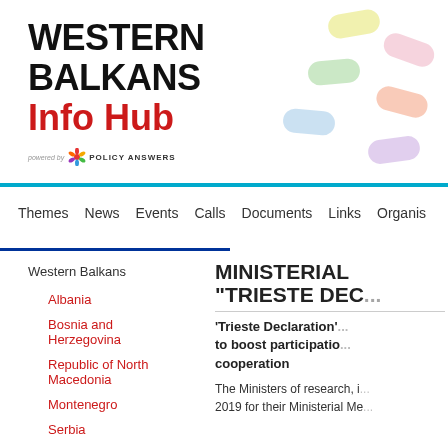WESTERN BALKANS Info Hub
[Figure (logo): Policy Answers logo with colorful star and text 'powered by POLICY ANSWERS']
[Figure (illustration): Decorative colorful pill/capsule shapes in pastel colors arranged in a scattered pattern on the top right]
Themes  News  Events  Calls  Documents  Links  Organis...
Western Balkans
Albania
Bosnia and Herzegovina
Republic of North Macedonia
Montenegro
Serbia
Kosovo*
MINISTERIAL "TRIESTE DEC...
'Trieste Declaration' ... to boost participation ... cooperation
The Ministers of research, i... 2019 for their Ministerial Me...